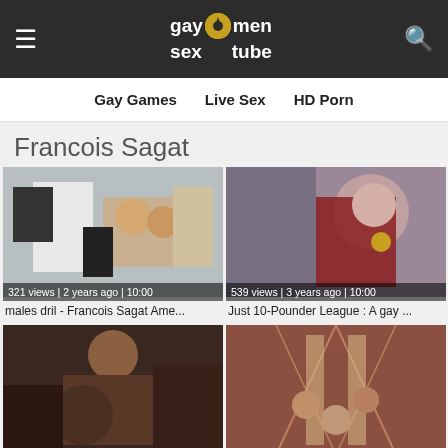gay men sex tube
Gay Games  Live Sex  HD Porn
Francois Sagat
[Figure (screenshot): Video thumbnail: two men in an office setting. Meta: 321 views | 2 years ago | 10:00]
males dril - Francois Sagat Ame...
[Figure (screenshot): Video thumbnail: man in red superhero costume against stone wall. Meta: 539 views | 3 years ago | 10:00]
Just 10-Pounder League : A gay ...
[Figure (screenshot): Video thumbnail: dark fantasy/warrior scene with two men]
[Figure (screenshot): Video thumbnail: stage/theatrical scene with multiple men under geometric lighting]